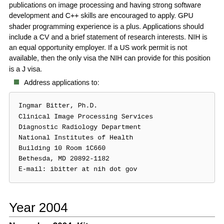publications on image processing and having strong software development and C++ skills are encouraged to apply. GPU shader programming experience is a plus. Applications should include a CV and a brief statement of research interests. NIH is an equal opportunity employer. If a US work permit is not available, then the only visa the NIH can provide for this position is a J visa.
Address applications to:
Ingmar Bitter, Ph.D.
Clinical Image Processing Services
Diagnostic Radiology Department
National Institutes of Health
Building 10 Room 1C660
Bethesda, MD 20892-1182
E-mail: ibitter at nih dot gov
Year 2004
November 2004: Kitware
Kitware is seeking to fill positions immediately. We are looking for people who will relocate to the Albany, NY USA area, are willing to work in a small company, and show flexibility in work assignments. Important skills include